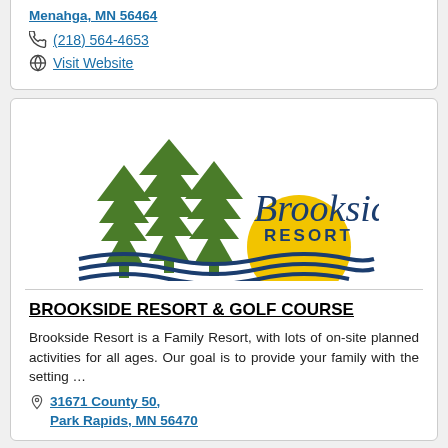Menahga, MN 56464
(218) 564-4653
Visit Website
[Figure (logo): Brookside Resort logo with pine trees, sun, and water waves]
BROOKSIDE RESORT & GOLF COURSE
Brookside Resort is a Family Resort, with lots of on-site planned activities for all ages. Our goal is to provide your family with the setting ...
31671 County 50, Park Rapids, MN 56470